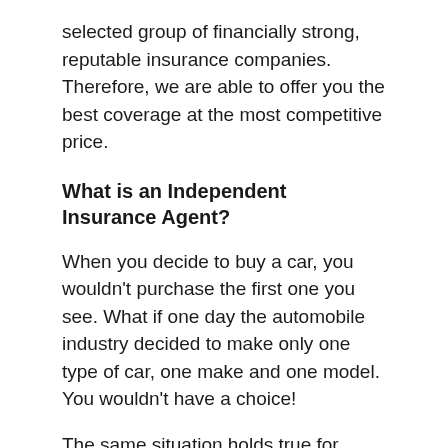selected group of financially strong, reputable insurance companies. Therefore, we are able to offer you the best coverage at the most competitive price.
What is an Independent Insurance Agent?
When you decide to buy a car, you wouldn't purchase the first one you see. What if one day the automobile industry decided to make only one type of car, one make and one model. You wouldn't have a choice!
The same situation holds true for insurance. You need insurance to drive a car, to purchase a house, to protect your family's financial future and to run a